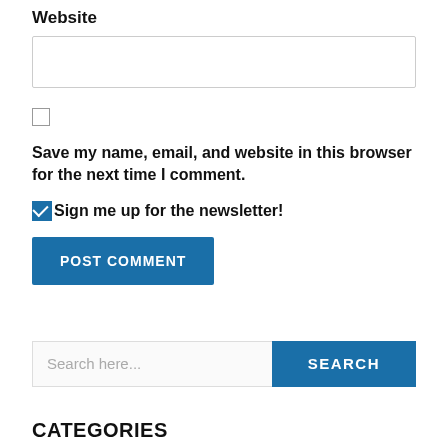Website
Save my name, email, and website in this browser for the next time I comment.
Sign me up for the newsletter!
POST COMMENT
Search here...
SEARCH
CATEGORIES
Select Category